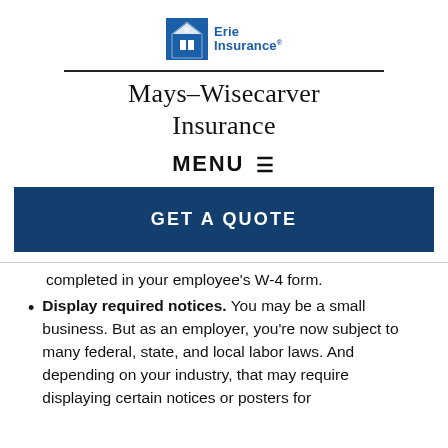[Figure (logo): Erie Insurance logo — blue building icon with 'Erie Insurance' text in blue]
Mays-Wisecarver Insurance
MENU ≡
[Figure (other): GET A QUOTE button — dark navy background with white bold text]
completed in your employee's W-4 form.
Display required notices. You may be a small business. But as an employer, you're now subject to many federal, state, and local labor laws. And depending on your industry, that may require displaying certain notices or posters for